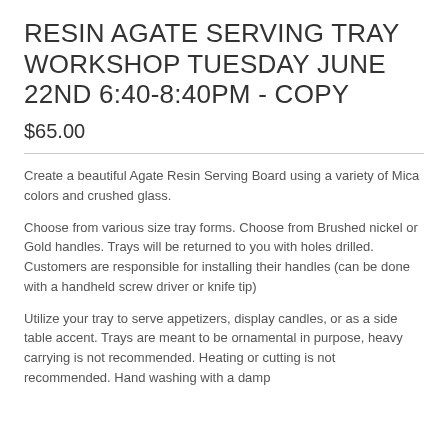RESIN AGATE SERVING TRAY WORKSHOP TUESDAY JUNE 22ND 6:40-8:40PM - COPY
$65.00
Create a beautiful Agate Resin Serving Board using a variety of Mica colors and crushed glass.
Choose from various size tray forms. Choose from Brushed nickel or Gold handles. Trays will be returned to you with holes drilled. Customers are responsible for installing their handles (can be done with a handheld screw driver or knife tip)
Utilize your tray to serve appetizers, display candles, or as a side table accent. Trays are meant to be ornamental in purpose, heavy carrying is not recommended. Heating or cutting is not recommended. Hand washing with a damp